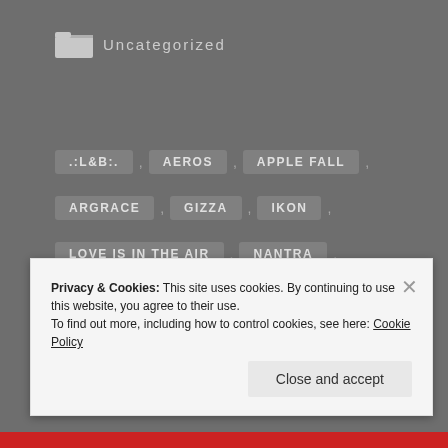Uncategorized
.:L&B:. , AEROS , APPLE FALL ,
ARGRACE , GIZZA , IKON ,
LOVE IS IN THE AIR , NANTRA , OYASUMI ,
PILOT , SLINK , TROMPE LOEIL ,
[DEADWOOL] , [MANDALA] , {WHAT NEXT}
Privacy & Cookies: This site uses cookies. By continuing to use this website, you agree to their use.
To find out more, including how to control cookies, see here: Cookie Policy
Close and accept